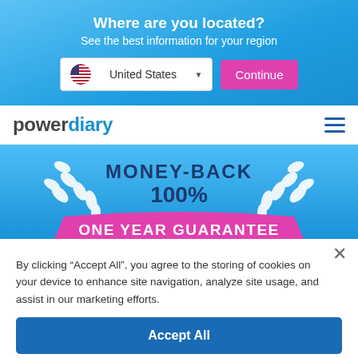Where are you located?
See the best information for your region
[Figure (screenshot): Location selector with United States dropdown and Continue button]
[Figure (logo): Power Diary logo with hamburger menu]
[Figure (infographic): Money-back 100% One Year Guarantee badge with laurel wreaths on blue background]
By clicking “Accept All”, you agree to the storing of cookies on your device to enhance site navigation, analyze site usage, and assist in our marketing efforts.
Accept All
Cookie Settings